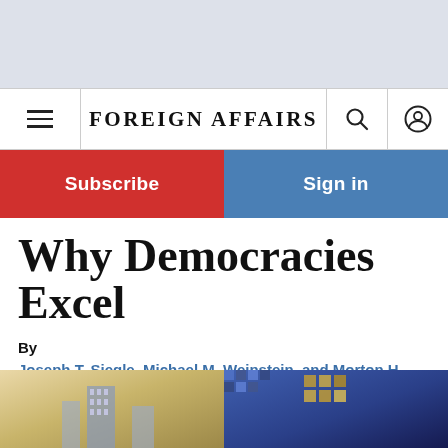[Figure (screenshot): Gray banner area at top of webpage]
FOREIGN AFFAIRS
Subscribe
Sign in
Why Democracies Excel
By
Joseph T. Siegle, Michael M. Weinstein, and Morton H. Halperin
September/October 2004
[Figure (photo): Photograph of buildings/skyscrapers split into two halves with different color tones]